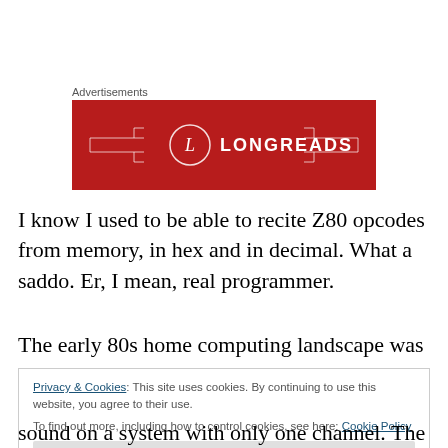Advertisements
[Figure (logo): Longreads advertisement banner — red background with LONGREADS text and circular L logo]
I know I used to be able to recite Z80 opcodes from memory, in hex and in decimal. What a saddo. Er, I mean, real programmer.
The early 80s home computing landscape was the
Privacy & Cookies: This site uses cookies. By continuing to use this website, you agree to their use.
To find out more, including how to control cookies, see here: Cookie Policy
sound on a system with only one channel. The BBC Micro